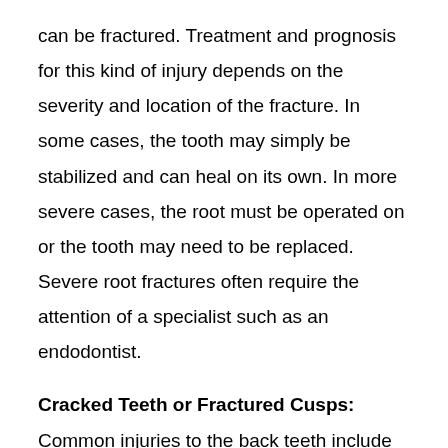can be fractured. Treatment and prognosis for this kind of injury depends on the severity and location of the fracture. In some cases, the tooth may simply be stabilized and can heal on its own. In more severe cases, the root must be operated on or the tooth may need to be replaced. Severe root fractures often require the attention of a specialist such as an endodontist.
Cracked Teeth or Fractured Cusps: Common injuries to the back teeth include cracks or fractures. If a crack extends into the root, a root canal treatment